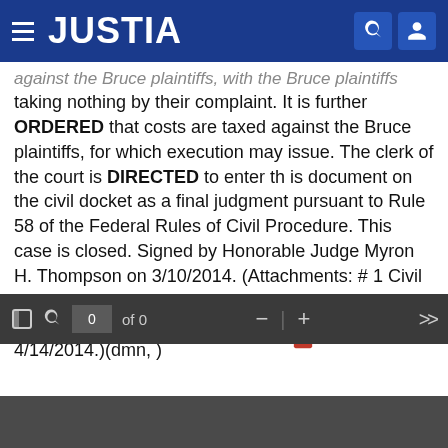JUSTIA
against the Bruce plaintiffs, with the Bruce plaintiffs taking nothing by their complaint. It is further ORDERED that costs are taxed against the Bruce plaintiffs, for which execution may issue. The clerk of the court is DIRECTED to enter th is document on the civil docket as a final judgment pursuant to Rule 58 of the Federal Rules of Civil Procedure. This case is closed. Signed by Honorable Judge Myron H. Thompson on 3/10/2014. (Attachments: # 1 Civil Appeals Checklist) Copies furnished to calendar group, AG. (Deadline terminated: Jury Trial set for 4/14/2014.)(dmn, )
Download PDF
[Figure (screenshot): PDF viewer toolbar with page navigation controls showing '0 of 0']